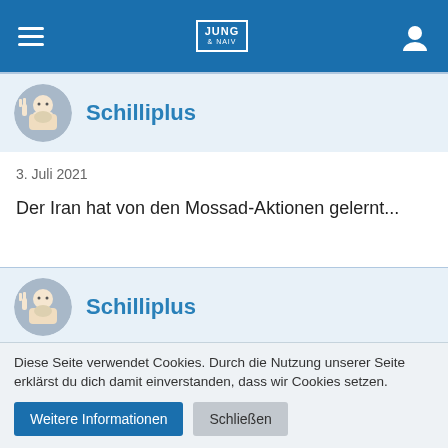Schilliplus – Jung & Naiv
[Figure (screenshot): User avatar circle with illustrated bearded man making peace sign]
Schilliplus
3. Juli 2021
Der Iran hat von den Mossad-Aktionen gelernt...
[Figure (screenshot): User avatar circle with illustrated bearded man making peace sign]
Schilliplus
Diese Seite verwendet Cookies. Durch die Nutzung unserer Seite erklärst du dich damit einverstanden, dass wir Cookies setzen.
Weitere Informationen
Schließen